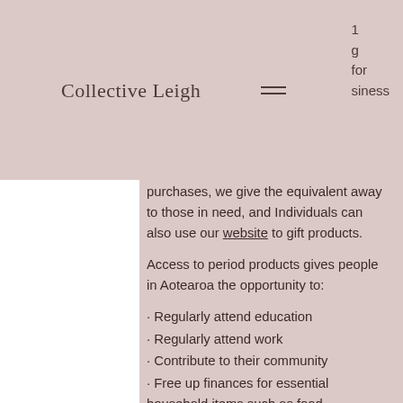Collective Leigh
purchases, we give the equivalent away to those in need, and Individuals can also use our website to gift products.
Access to period products gives people in Aotearoa the opportunity to:
· Regularly attend education
· Regularly attend work
· Contribute to their community
· Free up finances for essential household items such as food
· Reduce the emotional burden and shame associated with their period
· Increase their self-esteem and confidence